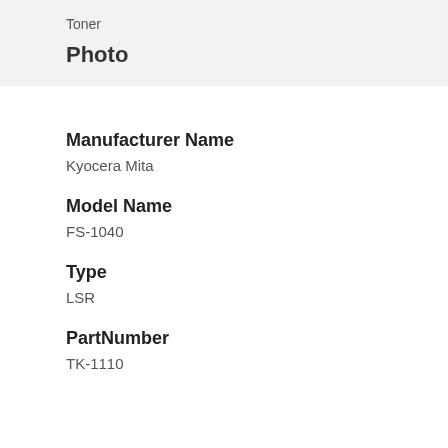Toner
Photo
Manufacturer Name
Kyocera Mita
Model Name
FS-1040
Type
LSR
PartNumber
TK-1110